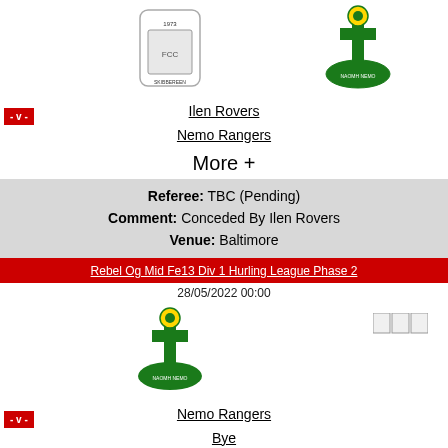[Figure (logo): Ilen Rovers club crest]
[Figure (logo): Nemo Rangers club crest]
Ilen Rovers
- v -
Nemo Rangers
More +
Referee: TBC (Pending)
Comment: Conceded By Ilen Rovers
Venue: Baltimore
Rebel Og Mid Fe13 Div 1 Hurling League Phase 2
28/05/2022 00:00
[Figure (logo): Nemo Rangers club crest]
[Figure (other): Score box placeholder]
Nemo Rangers
- v -
Bye
More +
Referee: TBC (Pending)